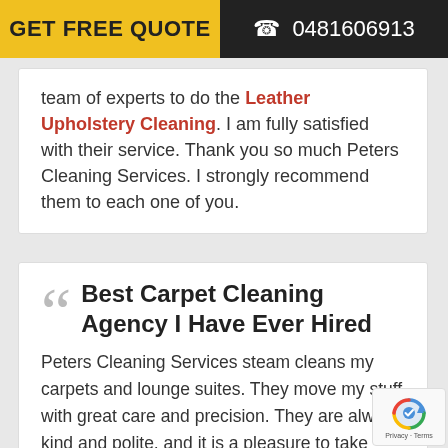GET FREE QUOTE  ☎ 0481606913
team of experts to do the Leather Upholstery Cleaning. I am fully satisfied with their service. Thank you so much Peters Cleaning Services. I strongly recommend them to each one of you.
Best Carpet Cleaning Agency I Have Ever Hired
Peters Cleaning Services steam cleans my carpets and lounge suites. They move my stuff with great care and precision. They are always kind and polite, and it is a pleasure to take benefit of their services. Peters Cleaning